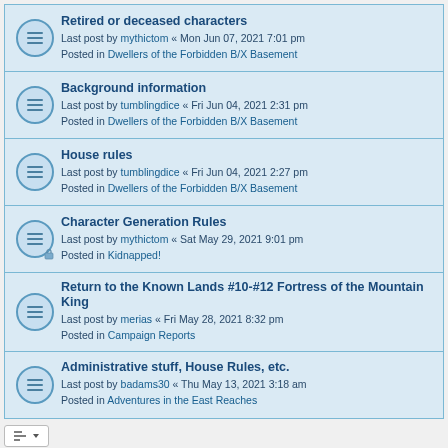Retired or deceased characters
Last post by mythictom « Mon Jun 07, 2021 7:01 pm
Posted in Dwellers of the Forbidden B/X Basement
Background information
Last post by tumblingdice « Fri Jun 04, 2021 2:31 pm
Posted in Dwellers of the Forbidden B/X Basement
House rules
Last post by tumblingdice « Fri Jun 04, 2021 2:27 pm
Posted in Dwellers of the Forbidden B/X Basement
Character Generation Rules
Last post by mythictom « Sat May 29, 2021 9:01 pm
Posted in Kidnapped!
Return to the Known Lands #10-#12 Fortress of the Mountain King
Last post by merias « Fri May 28, 2021 8:32 pm
Posted in Campaign Reports
Administrative stuff, House Rules, etc.
Last post by badams30 « Thu May 13, 2021 3:18 am
Posted in Adventures in the East Reaches
Search found 102 matches  1 2 3 4 5 >
Jump to